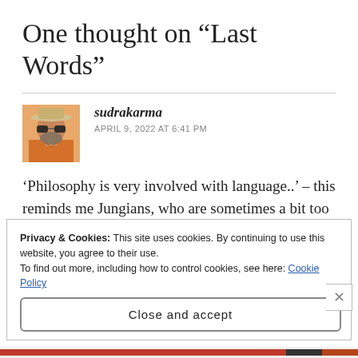One thought on “Last Words”
sudrakarma
APRIL 9, 2022 AT 6:41 PM
‘Philosophy is very involved with language..’ – this reminds me Jungians, who are sometimes a bit too fond of jargon. I suppose that’s true of many
Privacy & Cookies: This site uses cookies. By continuing to use this website, you agree to their use.
To find out more, including how to control cookies, see here: Cookie Policy
Close and accept